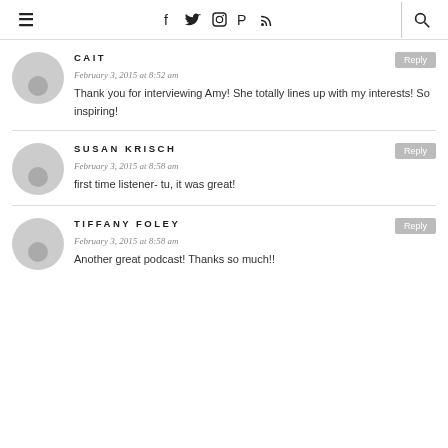≡   f  twitter  instagram  pinterest  rss   🔍
Thank you for interviewing Amy! She totally lines up with my interests! So inspiring!
first time listener- tu, it was great!
Another great podcast! Thanks so much!!